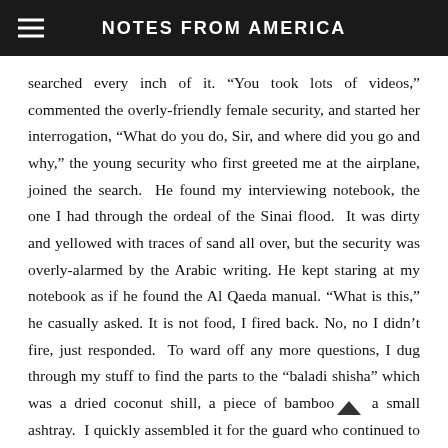NOTES FROM AMERICA
searched every inch of it. “You took lots of videos,” commented the overly-friendly female security, and started her interrogation, “What do you do, Sir, and where did you go and why,” the young security who first greeted me at the airplane, joined the search. He found my interviewing notebook, the one I had through the ordeal of the Sinai flood. It was dirty and yellowed with traces of sand all over, but the security was overly-alarmed by the Arabic writing. He kept staring at my notebook as if he found the Al Qaeda manual. “What is this,” he casually asked. It is not food, I fired back. No, no I didn’t fire, just responded. To ward off any more questions, I dug through my stuff to find the parts to the “baladi shisha” which was a dried coconut shill, a piece of bamboo and a small ashtray. I quickly assembled it for the guard who continued to stare at my notebook. I explained the use and function of the